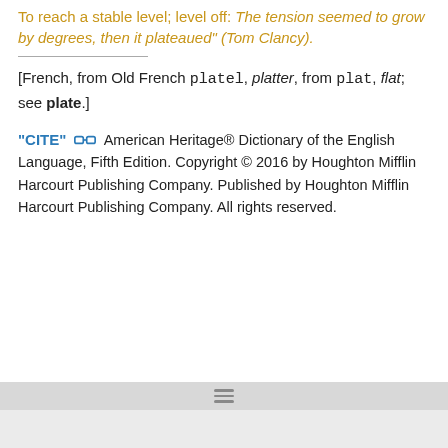To reach a stable level; level off: The tension seemed to grow by degrees, then it plateaued" (Tom Clancy).
[French, from Old French platel, platter, from plat, flat; see plate.]
"CITE" American Heritage® Dictionary of the English Language, Fifth Edition. Copyright © 2016 by Houghton Mifflin Harcourt Publishing Company. Published by Houghton Mifflin Harcourt Publishing Company. All rights reserved.